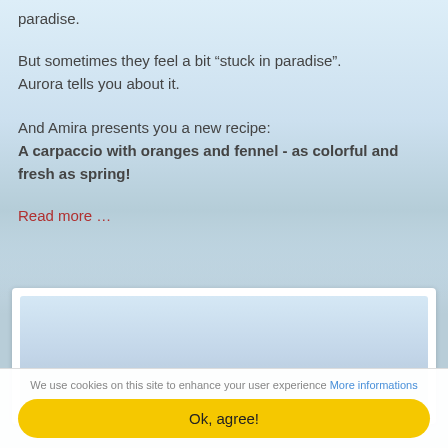paradise.
But sometimes they feel a bit “stuck in paradise”. Aurora tells you about it.
And Amira presents you a new recipe: A carpaccio with oranges and fennel - as colorful and fresh as spring!
Read more …
[Figure (photo): Faded background image of a European town with church spires, overlaid with a white card containing a light blue sky image]
We use cookies on this site to enhance your user experience More informations
Ok, agree!